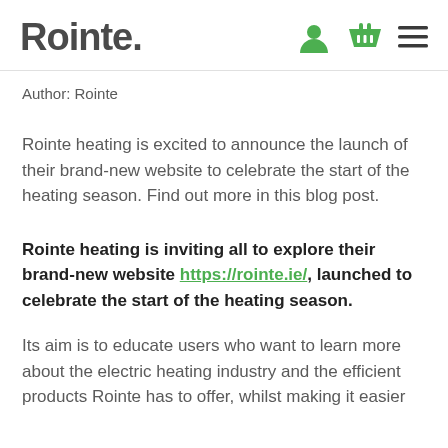Rointe. [logo with user icon, basket icon, menu icon]
Author: Rointe
Rointe heating is excited to announce the launch of their brand-new website to celebrate the start of the heating season. Find out more in this blog post.
Rointe heating is inviting all to explore their brand-new website https://rointe.ie/, launched to celebrate the start of the heating season.
Its aim is to educate users who want to learn more about the electric heating industry and the efficient products Rointe has to offer, whilst making it easier